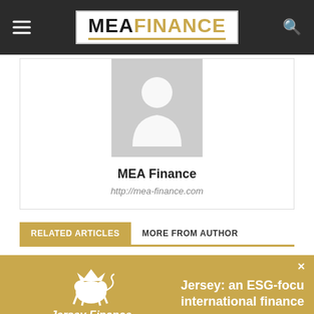MEA FINANCE
[Figure (photo): Generic placeholder avatar icon (grey silhouette of a person)]
MEA Finance
http://mea-finance.com
RELATED ARTICLES   MORE FROM AUTHOR
[Figure (illustration): Jersey Finance advertisement banner with logo (lion crest with crown) and text: Jersey: an ESG-focused international finance centre]